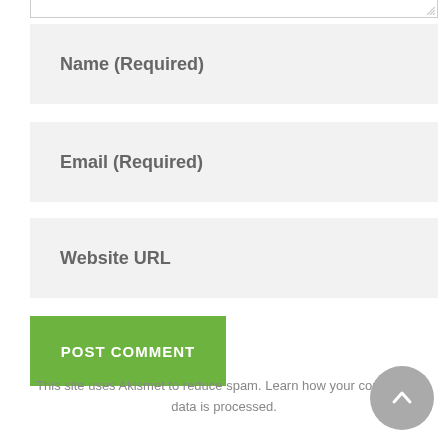[Figure (screenshot): Web comment form with Name (Required), Email (Required), and Website URL input fields, a green POST COMMENT button, and an Akismet spam notice at the bottom. A grey back-to-top circular button is visible in the bottom right corner.]
This site uses Akismet to reduce spam. Learn how your comment data is processed.